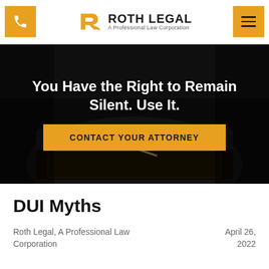Roth Legal — A Professional Law Corporation
[Figure (screenshot): Dark background hero image of a person in a suit writing with a pen on a notepad, overlaid with white bold text and an orange CTA button]
You Have the Right to Remain Silent. Use It.
CONTACT YOUR ATTORNEY
DUI Myths
Roth Legal, A Professional Law Corporation
April 26, 2022